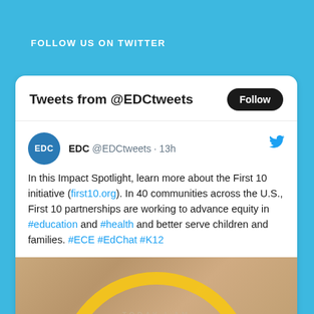FOLLOW US ON TWITTER
[Figure (screenshot): Twitter widget card showing tweets from @EDCtweets with a Follow button, an EDC tweet about the First 10 initiative, and a partial image at the bottom.]